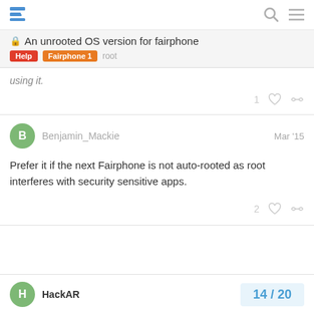An unrooted OS version for fairphone | Help | Fairphone 1 | root
using it.
Benjamin_Mackie  Mar '15
Prefer it if the next Fairphone is not auto-rooted as root interferes with security sensitive apps.
HackAR  14 / 20